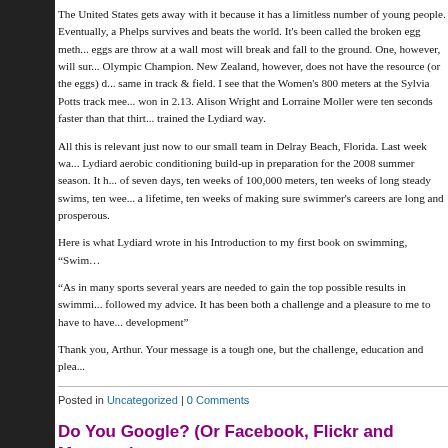The United States gets away with it because it has a limitless number of young people. Eventually, a Phelps survives and beats the world. It's been called the broken egg method: eggs are throw at a wall most will break and fall to the ground. One, however, will survive, Olympic Champion. New Zealand, however, does not have the resource (or the eggs) do the same in track & field. I see that the Women's 800 meters at the Sylvia Potts track meet was won in 2.13. Alison Wright and Lorraine Moller were ten seconds faster than that thirty years trained the Lydiard way.
All this is relevant just now to our small team in Delray Beach, Florida. Last week was Lydiard aerobic conditioning build-up in preparation for the 2008 summer season. It has seven days, ten weeks of 100,000 meters, ten weeks of long steady swims, ten weeks a lifetime, ten weeks of making sure swimmer's careers are long and prosperous.
Here is what Lydiard wrote in his Introduction to my first book on swimming, "Swim
"As in many sports several years are needed to gain the top possible results in swimming. followed my advice. It has been both a challenge and a pleasure to me to have to have development"
Thank you, Arthur. Your message is a tough one, but the challenge, education and plea
Posted in Uncategorized | 0 Comments
Do You Google? (Or Facebook, Flickr and Myspace)
Sunday, February 10th, 2008